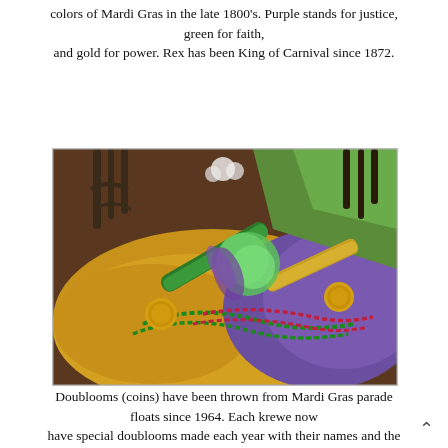colors of Mardi Gras in the late 1800's. Purple stands for justice, green for faith, and gold for power. Rex has been King of Carnival since 1872.
[Figure (photo): Mardi Gras themed photo showing gold, green, and purple fabrics/cloth spread on a wooden table with Mardi Gras beads (green and red/purple strands), gold doubloon coins, a green metallic horn/noisemaker, a fluffy green and purple feathered boa/wand, and decorative ironwork in the background]
Doublooms (coins) have been thrown from Mardi Gras parade floats since 1964. Each krewe now have special doublooms made each year with their names and the